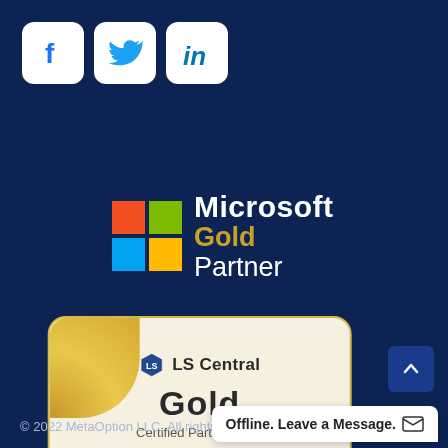[Figure (logo): Social media icons: Facebook (f), Twitter (bird), LinkedIn (in) — white rounded-square buttons on dark navy background]
[Figure (logo): Microsoft Gold Partner logo with four-color Windows grid and text 'Microsoft' in white and 'Gold Partner' with 'Gold' in gold color]
[Figure (logo): LS Central Gold Certified Partner 2021 badge — cream/beige card with gold corner accent, LS Central icon and text]
© 2022 MetaOption LLC. All rights r…
Offline. Leave a Message.